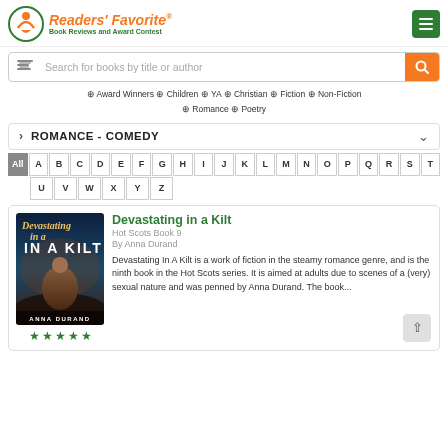Readers' Favorite® Book Reviews and Award Contest
Search for books by title or author
Award Winners  Children  YA  Christian  Fiction  Non-Fiction  Romance  Poetry
ROMANCE - COMEDY
All A B C D E F G H I J K L M N O P Q R S T U V W X Y Z
Devastating in a Kilt
Hot Scots Book 9
By Anna Durand
Devastating In A Kilt is a work of fiction in the steamy romance genre, and is the ninth book in the Hot Scots series. It is aimed at adults due to scenes of a (very) sexual nature and was penned by Anna Durand. The book...
[Figure (illustration): Book cover for Devastating in a Kilt by Anna Durand, showing a shirtless man against a dramatic sky background with stylized gold italic title text.]
★★★★★ (5 green stars)